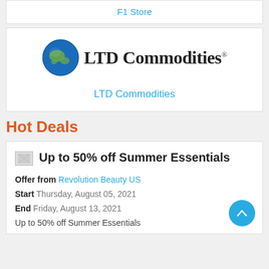F1 Store
[Figure (logo): LTD Commodities logo with globe icon and bold serif text]
LTD Commodities
Hot Deals
Up to 50% off Summer Essentials
Offer from Revolution Beauty US
Start Thursday, August 05, 2021
End Friday, August 13, 2021
Up to 50% off Summer Essentials